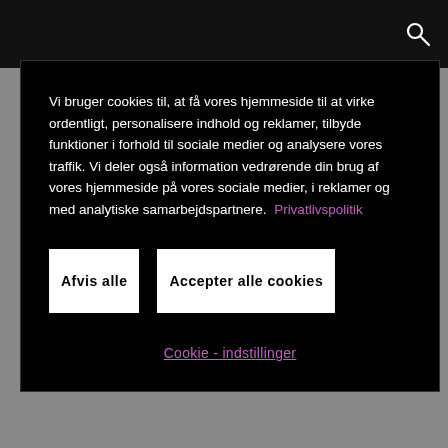Vi bruger cookies til, at få vores hjemmeside til at virke ordentligt, personalisere indhold og reklamer, tilbyde funktioner i forhold til sociale medier og analysere vores traffik. Vi deler også information vedrørende din brug af vores hjemmeside på vores sociale medier, i reklamer og med analytiske samarbejdspartnere.  Privatlivspolitik
Afvis alle
Accepter alle cookies
Cookie - indstillinger